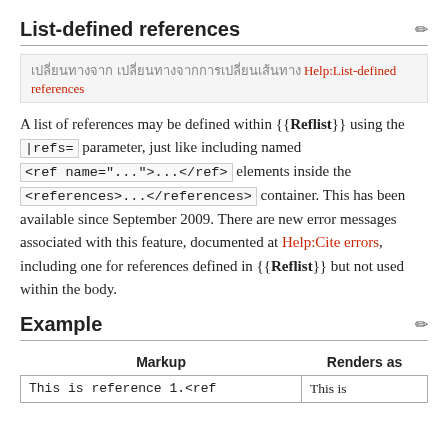List-defined references
เปลี่ยนทางจาก Help:List-defined references
A list of references may be defined within {{Reflist}} using the |refs= parameter, just like including named <ref name="...">...</ref> elements inside the <references>...</references> container. This has been available since September 2009. There are new error messages associated with this feature, documented at Help:Cite errors, including one for references defined in {{Reflist}} but not used within the body.
Example
| Markup | Renders as |
| --- | --- |
| This is reference 1.<ref | This is |